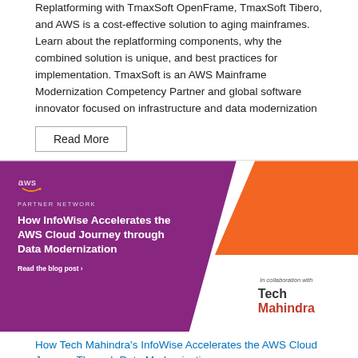Replatforming with TmaxSoft OpenFrame, TmaxSoft Tibero, and AWS is a cost-effective solution to aging mainframes. Learn about the replatforming components, why the combined solution is unique, and best practices for implementation. TmaxSoft is an AWS Mainframe Modernization Competency Partner and global software innovator focused on infrastructure and data modernization
Read More
[Figure (illustration): AWS Partner Network banner image for 'How InfoWise Accelerates the AWS Cloud Journey through Data Modernization'. Purple background on left with AWS logo, 'PARTNER NETWORK' text, and bold white title. Orange triangle in upper right. White section lower right with 'In collaboration with Tech Mahindra' logo.]
How Tech Mahindra's InfoWise Accelerates the AWS Cloud Journey Through Data Modernization
by Sehilemeen Meherenian, Nirmelyn Chattopadhyay and Sathish Arumugam